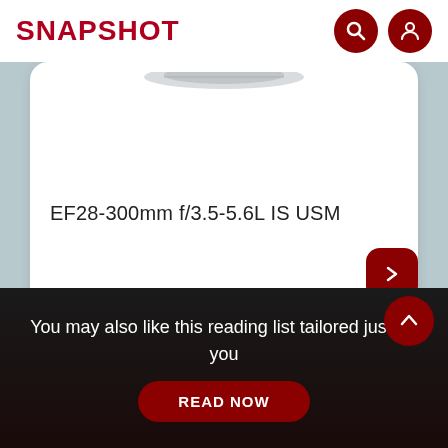SNAPSHOT
[Figure (screenshot): Product card showing a partial image of a Canon EF28-300mm f/3.5-5.6L IS USM lens (only lens barrel tip visible at top), white card with rounded corners on a light blue-grey background.]
EF28-300mm f/3.5-5.6L IS USM
You may also like this reading list tailored just for you
READ NOW